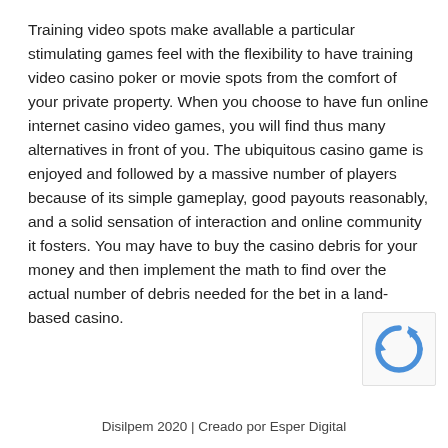Training video spots make avallable a particular stimulating games feel with the flexibility to have training video casino poker or movie spots from the comfort of your private property. When you choose to have fun online internet casino video games, you will find thus many alternatives in front of you. The ubiquitous casino game is enjoyed and followed by a massive number of players because of its simple gameplay, good payouts reasonably, and a solid sensation of interaction and online community it fosters. You may have to buy the casino debris for your money and then implement the math to find over the actual number of debris needed for the bet in a land-based casino.
[Figure (other): reCAPTCHA logo/icon widget in bottom right corner]
Disilpem 2020 | Creado por Esper Digital